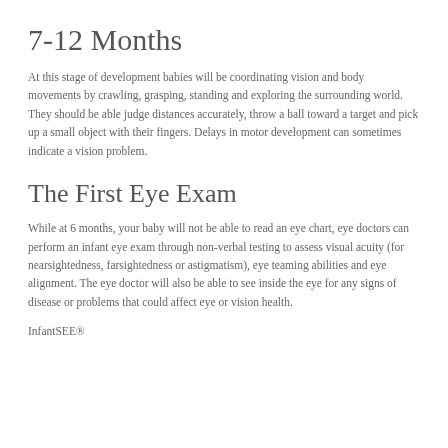7-12 Months
At this stage of development babies will be coordinating vision and body movements by crawling, grasping, standing and exploring the surrounding world. They should be able judge distances accurately, throw a ball toward a target and pick up a small object with their fingers. Delays in motor development can sometimes indicate a vision problem.
The First Eye Exam
While at 6 months, your baby will not be able to read an eye chart, eye doctors can perform an infant eye exam through non-verbal testing to assess visual acuity (for nearsightedness, farsightedness or astigmatism), eye teaming abilities and eye alignment. The eye doctor will also be able to see inside the eye for any signs of disease or problems that could affect eye or vision health.
InfantSEE®